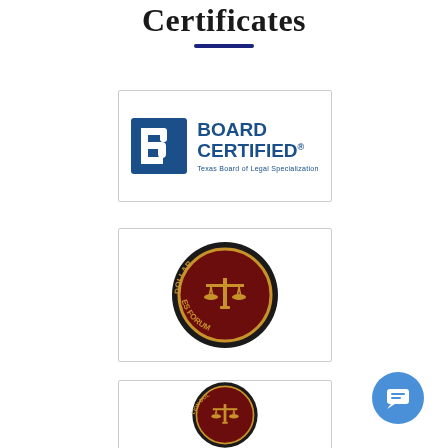Certificates
[Figure (logo): Board Certified - Texas Board of Legal Specialization logo]
[Figure (logo): Million Dollar Advocates Forum circular seal logo]
[Figure (logo): Multi-Million Dollar Advocates Forum circular seal logo (partially visible)]